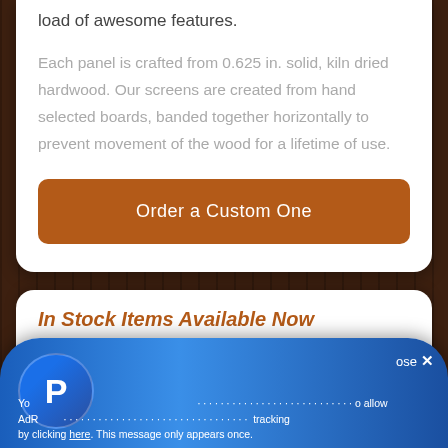load of awesome features.
Each panel is crafted from 0.625 in. solid, kiln dried hardwood. Our screens are created from hand selected boards, banded together horizontally to prevent movement of the wood for a lifetime of use.
Order a Custom One
In Stock Items Available Now
[Figure (screenshot): Partial screenshot of a product image inside a dark rounded box]
[Figure (screenshot): PayPal promotional overlay bar at the bottom with PayPal logo and partial consent/tracking notice text]